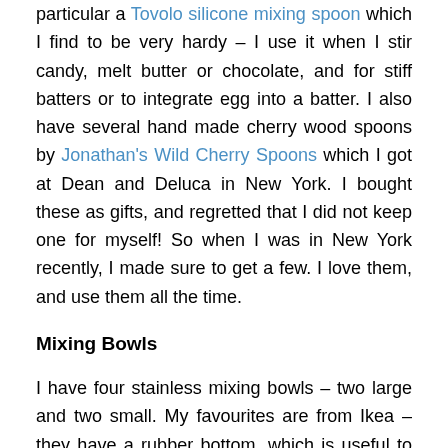particular a Tovolo silicone mixing spoon which I find to be very hardy – I use it when I stir candy, melt butter or chocolate, and for stiff batters or to integrate egg into a batter. I also have several hand made cherry wood spoons by Jonathan's Wild Cherry Spoons which I got at Dean and Deluca in New York. I bought these as gifts, and regretted that I did not keep one for myself! So when I was in New York recently, I made sure to get a few. I love them, and use them all the time.
Mixing Bowls
I have four stainless mixing bowls – two large and two small. My favourites are from Ikea – they have a rubber bottom, which is useful to make sure that the bowl doesnt slip and rubber lids which makes storage in the fridge simple. But I also love my small stainless bowl which has